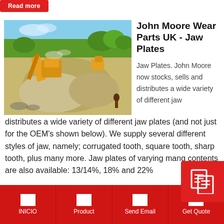Read more
[Figure (photo): Quarry site with yellow jaw crusher machinery, rock piles and gravel mounds, trees and blue sky in background]
John Moore Wear Parts UK - Jaw Plates
Jaw Plates. John Moore now stocks, sells and distributes a wide variety of different jaw plates (and not just for the OEM's shown below). We supply several different styles of jaw, namely; corrugated tooth, square tooth, sharp tooth, plus many more. Jaw plates of varying mang contents are also available: 13/14%, 18% and 22%
INICIO | Product | Send Email | Get Quote